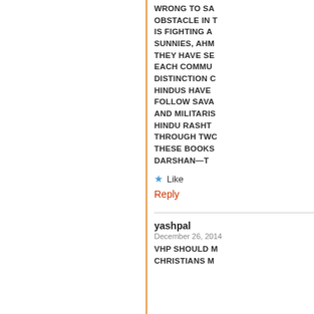WRONG TO SA OBSTACLE IN T IS FIGHTING A SUNNIES, AHM THEY HAVE SE EACH COMMU DISTINCTION C HINDUS HAVE FOLLOW SAVA AND MILITA HINDU RASHT THROUGH TW THESE BOOKS DARSHAN—T
Like
Reply
yashpal
December 26, 2014
VHP SHOULD M CHRISTIANS M